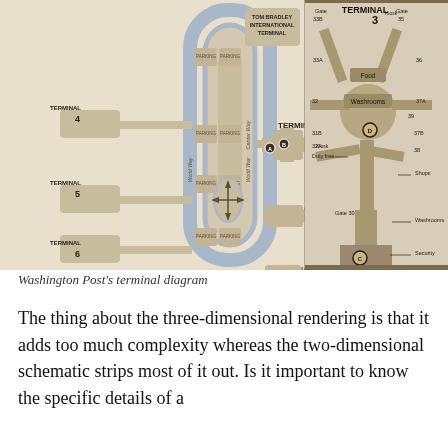[Figure (map): Airport terminal map diagram showing two panels: left panel is an overview map of LAX terminals including Tom Bradley International Terminal, Terminals 1-7, parking structures, and road labels (Center Way, World Way). Right panel is a detailed diagram of Terminal 3 showing gates 31B-39, 33A-33B, 35-36, 37A-37B, 38, 32, 32A, 30, with amenities labeled: Food, Washrooms, Kiosk, Duty free, Shops, Security, and gate markers A, B, C, D.]
Washington Post's terminal diagram
The thing about the three-dimensional rendering is that it adds too much complexity whereas the two-dimensional schematic strips most of it out. Is it important to know the specific details of a